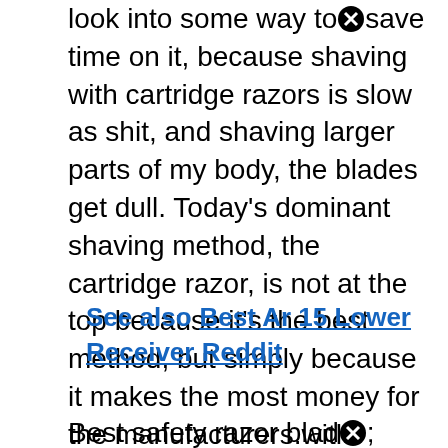look into some way to save time on it, because shaving with cartridge razors is slow as shit, and shaving larger parts of my body, the blades get dull. Today's dominant shaving method, the cartridge razor, is not at the top because it's the best method, but simply because it makes the most money for the manufacturers.with aggressive marketing brands like gillette or the dollar shave club have taught men that the cartridge razor with more blades is the way to go.
See also  Best Ar 15 Lower Receiver Reddit
Best safety razor blad[x]; reddit 2021 #